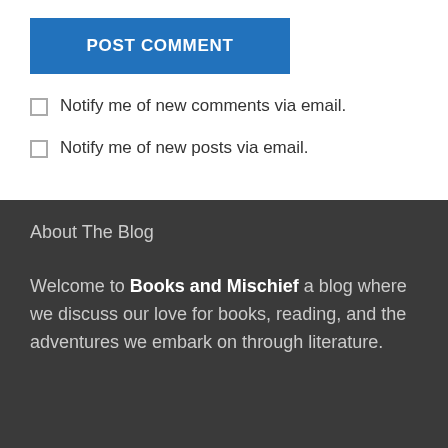POST COMMENT
Notify me of new comments via email.
Notify me of new posts via email.
About The Blog
Welcome to Books and Mischief a blog where we discuss our love for books, reading, and the adventures we embark on through literature.